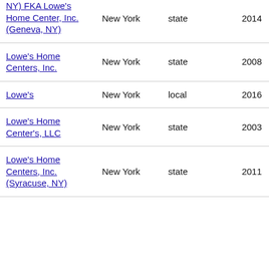| Name | State | Level | Year |
| --- | --- | --- | --- |
| NY) FKA Lowe's Home Center, Inc. (Geneva, NY) | New York | state | 2014 |
| Lowe's Home Centers, Inc. | New York | state | 2008 |
| Lowe's | New York | local | 2016 |
| Lowe's Home Center's, LLC | New York | state | 2003 |
| Lowe's Home Centers, Inc. (Syracuse, NY) | New York | state | 2011 |